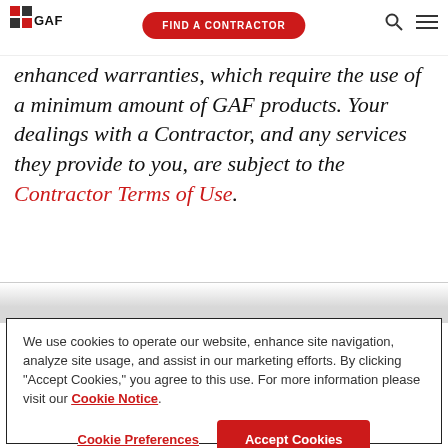GAF | FIND A CONTRACTOR
enhanced warranties, which require the use of a minimum amount of GAF products. Your dealings with a Contractor, and any services they provide to you, are subject to the Contractor Terms of Use.
We use cookies to operate our website, enhance site navigation, analyze site usage, and assist in our marketing efforts. By clicking "Accept Cookies," you agree to this use. For more information please visit our Cookie Notice.
Cookie Preferences | Accept Cookies